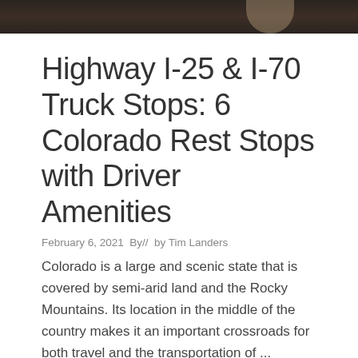[Figure (photo): Partial view of a dark-toned photograph at the top of the page, showing a road or vehicle scene]
Highway I-25 & I-70 Truck Stops: 6 Colorado Rest Stops with Driver Amenities
February 6, 2021  By//  by Tim Landers
Colorado is a large and scenic state that is covered by semi-arid land and the Rocky Mountains. Its location in the middle of the country makes it an important crossroads for both travel and the transportation of ...